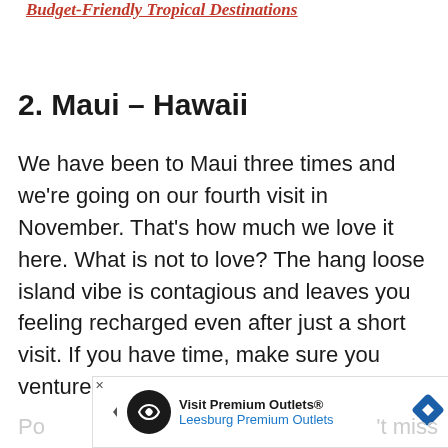Budget-Friendly Tropical Destinations
2. Maui – Hawaii
We have been to Maui three times and we're going on our fourth visit in November. That's how much we love it here. What is not to love? The hang loose island vibe is contagious and leaves you feeling recharged even after just a short visit. If you have time, make sure you venture all the way to the Seven Sacred Po...
[Figure (other): Advertisement banner for Visit Premium Outlets - Leesburg Premium Outlets with logo icon and navigation arrow icon]